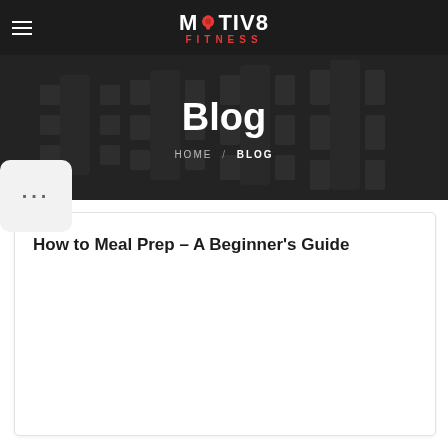[Figure (logo): Motiv8 Fitness logo with kettlebell icon and red FITNESS text below]
Blog
HOME / BLOG
[Figure (other): Three dots widget on left sidebar]
How to Meal Prep – A Beginner's Guide